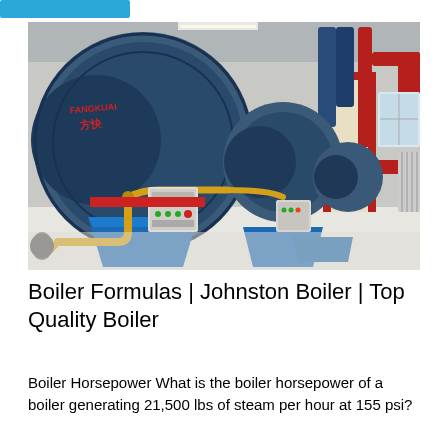[Figure (photo): Industrial boiler room with large blue cylindrical boilers branded 'FANGKUAI' with Chinese characters, yellow and red piping, control panels, and a red door frame visible in the background. Multiple boiler units lined up in a clean facility with white floor.]
Boiler Formulas | Johnston Boiler | Top Quality Boiler
Boiler Horsepower What is the boiler horsepower of a boiler generating 21,500 lbs of steam per hour at 155 psi?